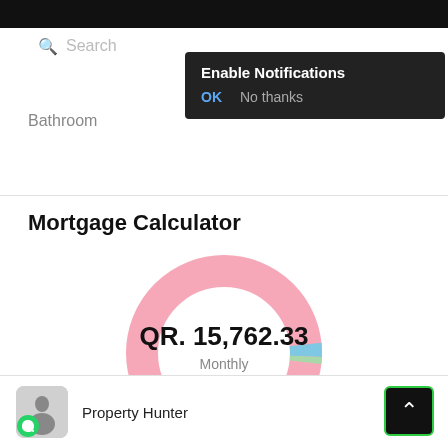[Figure (screenshot): Mobile app screenshot showing a mortgage calculator with donut chart and notification popup]
Search
Enable Notifications   OK   No thanks
Bathroom
Mortgage Calculator
[Figure (donut-chart): Donut chart showing monthly mortgage payment of QR. 15,762.33]
QR. 15,762.33
Monthly
Property Hunter